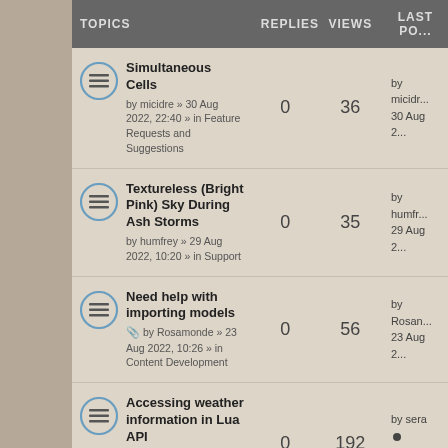| TOPICS | REPLIES | VIEWS | LAST PO... |
| --- | --- | --- | --- |
| Simultaneous Cells
by micidre » 30 Aug 2022, 22:40 » in Feature Requests and Suggestions | 0 | 36 | by micidr...
30 Aug 2... |
| Textureless (Bright Pink) Sky During Ash Storms
by humfrey » 29 Aug 2022, 10:20 » in Support | 0 | 35 | by humfr...
29 Aug 2... |
| Need help with importing models
by Rosamonde » 23 Aug 2022, 10:26 » in Content Development | 0 | 56 | by Rosan...
23 Aug 2... |
| Accessing weather information in Lua API
by sera » 19 Aug 2022, 16:24 » in General Modding | 0 | 192 | by sera ...
19 Aug 2... |
| Openmw wont start after upgrading to Ubuntu Studio 22.04
by Derek2022 » 19 Aug | 0 | 132 | by Derek...
19 Aug 2... |